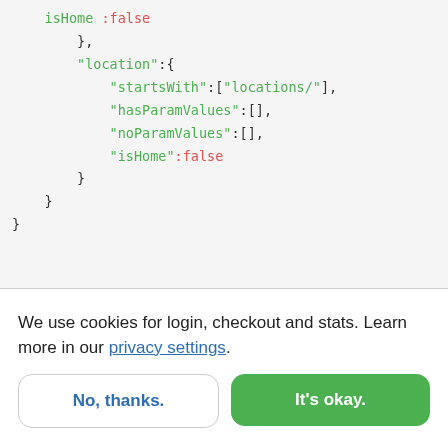[Figure (screenshot): Code snippet showing JSON with isHome:false, location object containing startsWith:["locations/"], hasParamValues:[], noParamValues:[], isHome:false, with closing braces]
We use cookies for login, checkout and stats. Learn more in our privacy settings.
No, thanks.
It's okay.